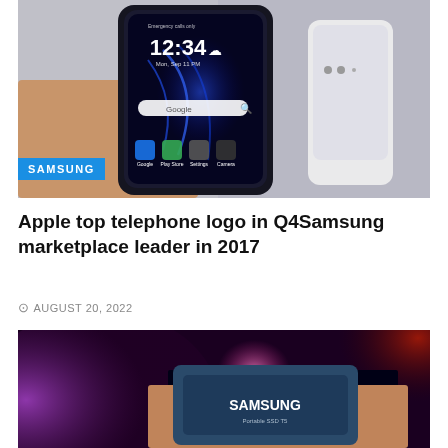[Figure (photo): Hand holding a Samsung Android smartphone showing lock screen with time 12:34, with a white phone in the background. A blue SAMSUNG label badge overlays the bottom-left of the image.]
Apple top telephone logo in Q4Samsung marketplace leader in 2017
AUGUST 20, 2022
[Figure (photo): Hand holding a Samsung Portable SSD T5 drive against a blurred purple and red bokeh background.]